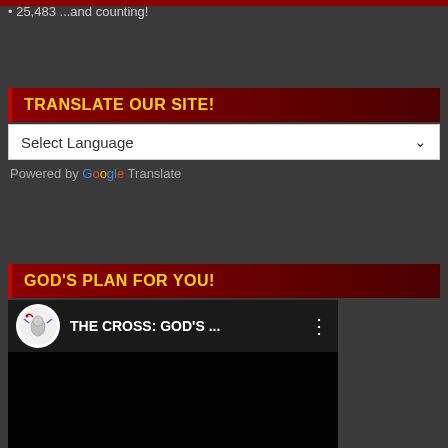25,483 ...and counting!
TRANSLATE OUR SITE!
Select Language
Powered by Google Translate
GOD'S PLAN FOR YOU!
[Figure (screenshot): YouTube video embed showing channel icon and title 'THE CROSS: GOD'S ...' with three-dot menu icon on dark background]